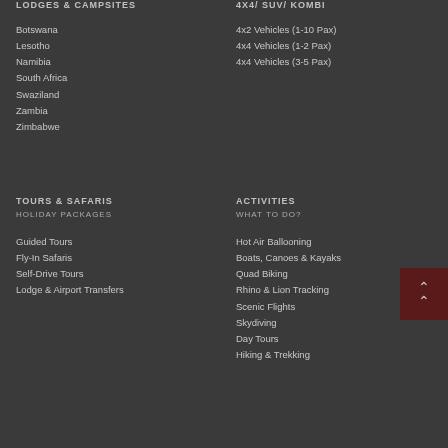LODGES & CAMPSITES
4X4/ SUV/ KOMBI
Botswana
Lesotho
Namibia
South Africa
Swaziland
Zambia
Zimbabwe
4x2 Vehicles (1-10 Pax)
4x4 Vehicles (1-2 Pax)
4x4 Vehicles (3-5 Pax)
TOURS & SAFARIS
ACTIVITIES
HOLIDAY PACKAGES
WHAT TO DO?
Guided Tours
Fly-In Safaris
Self-Drive Tours
Lodge & Airport Transfers
Hot Air Ballooning
Boats, Canoes & Kayaks
Quad Biking
Rhino & Lion Tracking
Scenic Flights
Skydiving
Day Tours
Hiking & Trekking